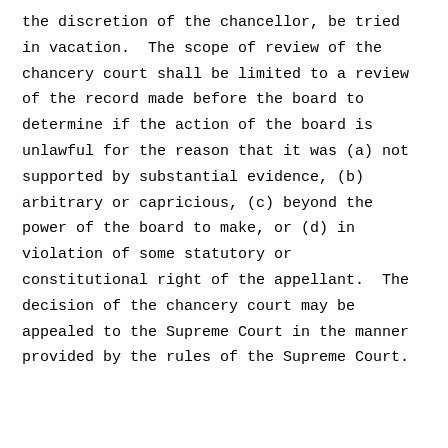the discretion of the chancellor, be tried in vacation.  The scope of review of the chancery court shall be limited to a review of the record made before the board to determine if the action of the board is unlawful for the reason that it was (a) not supported by substantial evidence, (b) arbitrary or capricious, (c) beyond the power of the board to make, or (d) in violation of some statutory or constitutional right of the appellant.  The decision of the chancery court may be appealed to the Supreme Court in the manner provided by the rules of the Supreme Court.